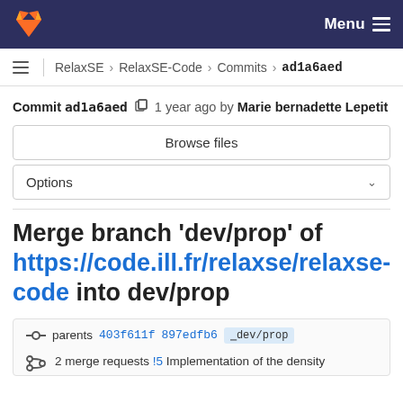Menu
RelaxSE > RelaxSE-Code > Commits > ad1a6aed
Commit ad1a6aed  1 year ago by Marie bernadette Lepetit
Browse files
Options
Merge branch 'dev/prop' of https://code.ill.fr/relaxse/relaxse-code into dev/prop
parents 403f611f 897edfb6  dev/prop
2 merge requests !5 Implementation of the density